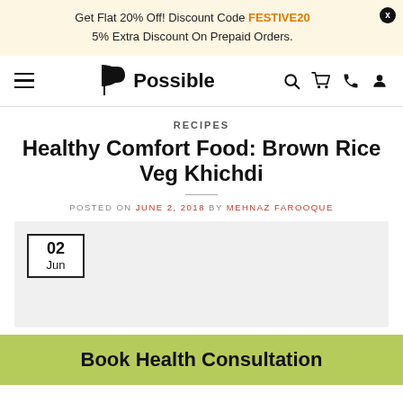Get Flat 20% Off! Discount Code FESTIVE20
5% Extra Discount On Prepaid Orders.
[Figure (logo): Possible logo with stylized P icon and wordmark]
RECIPES
Healthy Comfort Food: Brown Rice Veg Khichdi
POSTED ON JUNE 2, 2018 BY MEHNAZ FAROOQUE
[Figure (other): Gray image card with date box showing 02 Jun]
Book Health Consultation